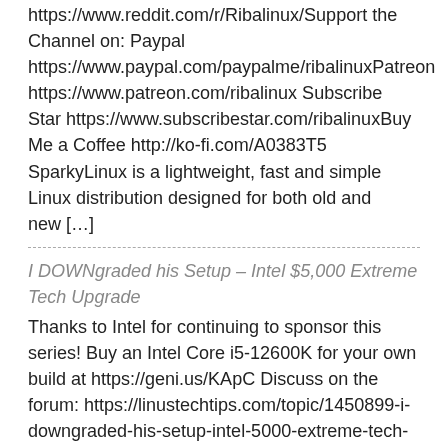https://www.reddit.com/r/Ribalinux/Support the Channel on: Paypal https://www.paypal.com/paypalme/ribalinuxPatreon https://www.patreon.com/ribalinux Subscribe Star https://www.subscribestar.com/ribalinuxBuy Me a Coffee http://ko-fi.com/A0383T5 SparkyLinux is a lightweight, fast and simple Linux distribution designed for both old and new […]
I DOWNgraded his Setup – Intel $5,000 Extreme Tech Upgrade
Thanks to Intel for continuing to sponsor this series! Buy an Intel Core i5-12600K for your own build at https://geni.us/KApC Discuss on the forum: https://linustechtips.com/topic/1450899-i-downgraded-his-setup-intel-5000-extreme-tech-upgrade-sponsored/ Z690I AORUS ULTRA PLUS DDR4: https://geni.us/nMTGGh NR200P Caribbean Blue: https://geni.us/I6AYkaK NEON D-RGB LED Strip Combo: https://geni.us/OJpjg0 EVGA RTX 3060 Ti XC GAMING: https://geni.us/yKiFazt Ballistix RGB 32GB Kit DDR4-3600: https://geni.us/Q2HoI P5 […]